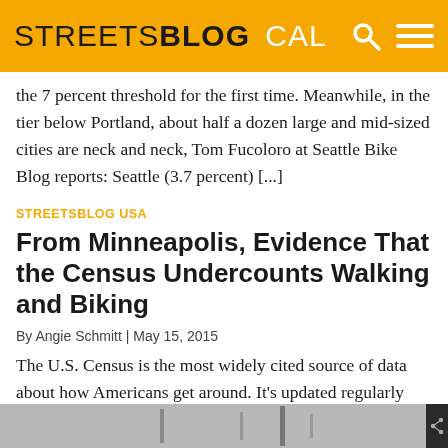STREETSBLOG CAL
the 7 percent threshold for the first time. Meanwhile, in the tier below Portland, about half a dozen large and mid-sized cities are neck and neck, Tom Fucoloro at Seattle Bike Blog reports: Seattle (3.7 percent) [...]
STREETSBLOG USA
From Minneapolis, Evidence That the Census Undercounts Walking and Biking
By Angie Schmitt | May 15, 2015
The U.S. Census is the most widely cited source of data about how Americans get around. It's updated regularly and it covers the whole country, but it comes up short in a number of ways. The Census only asks about commute trips, and commuting only accounts for about 16 percent of total household travel [PDF]. [...]
[Figure (photo): Partial image visible at bottom of page, appears to be a street or transportation scene]